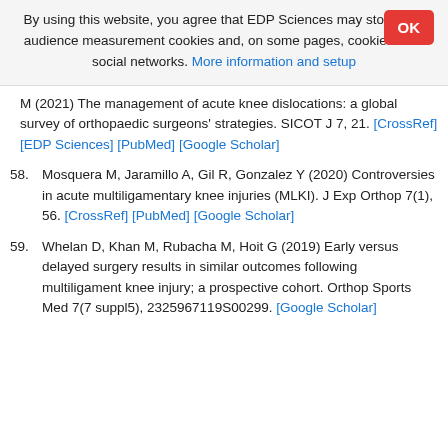By using this website, you agree that EDP Sciences may store web audience measurement cookies and, on some pages, cookies from social networks. More information and setup
M (2021) The management of acute knee dislocations: a global survey of orthopaedic surgeons' strategies. SICOT J 7, 21. [CrossRef] [EDP Sciences] [PubMed] [Google Scholar]
58. Mosquera M, Jaramillo A, Gil R, Gonzalez Y (2020) Controversies in acute multiligamentary knee injuries (MLKI). J Exp Orthop 7(1), 56. [CrossRef] [PubMed] [Google Scholar]
59. Whelan D, Khan M, Rubacha M, Hoit G (2019) Early versus delayed surgery results in similar outcomes following multiligament knee injury; a prospective cohort. Orthop Sports Med 7(7 suppl5), 2325967119S00299. [Google Scholar]